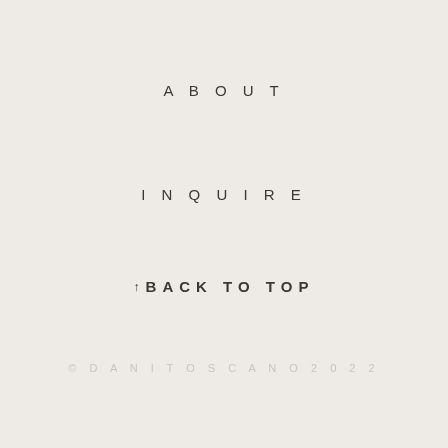ABOUT
INQUIRE
↑ BACK TO TOP
© DANI TOSCANO 2022